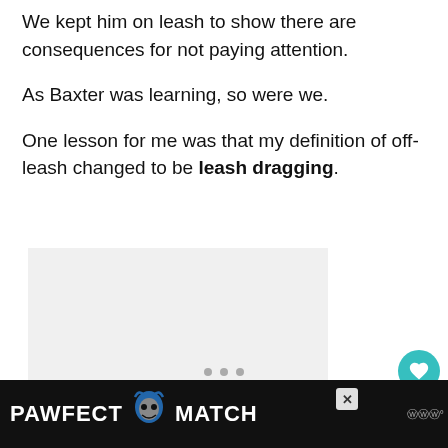We kept him on leash to show there are consequences for not paying attention.
As Baxter was learning, so were we.
One lesson for me was that my definition of off-leash changed to be leash dragging.
[Figure (photo): Gray image placeholder area for an embedded image]
PAWFECT MATCH advertisement banner at the bottom of the page